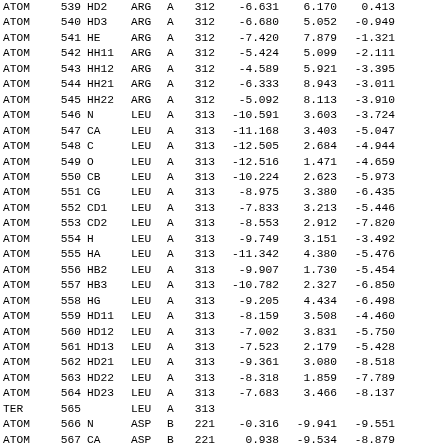| Record | Serial | Name | Res | Chain | ResSeq | X | Y | Z |
| --- | --- | --- | --- | --- | --- | --- | --- | --- |
| ATOM | 539 | HD2 | ARG | A | 312 | -6.631 | 6.170 | 0.413 |
| ATOM | 540 | HD3 | ARG | A | 312 | -6.680 | 5.052 | -0.949 |
| ATOM | 541 | HE | ARG | A | 312 | -7.420 | 7.879 | -1.321 |
| ATOM | 542 | HH11 | ARG | A | 312 | -5.424 | 5.099 | -2.111 |
| ATOM | 543 | HH12 | ARG | A | 312 | -4.589 | 5.921 | -3.395 |
| ATOM | 544 | HH21 | ARG | A | 312 | -6.333 | 8.943 | -3.011 |
| ATOM | 545 | HH22 | ARG | A | 312 | -5.092 | 8.113 | -3.910 |
| ATOM | 546 | N | LEU | A | 313 | -10.591 | 3.603 | -3.724 |
| ATOM | 547 | CA | LEU | A | 313 | -11.168 | 3.403 | -5.047 |
| ATOM | 548 | C | LEU | A | 313 | -12.505 | 2.684 | -4.944 |
| ATOM | 549 | O | LEU | A | 313 | -12.516 | 1.471 | -4.659 |
| ATOM | 550 | CB | LEU | A | 313 | -10.224 | 2.623 | -5.973 |
| ATOM | 551 | CG | LEU | A | 313 | -8.975 | 3.380 | -6.435 |
| ATOM | 552 | CD1 | LEU | A | 313 | -7.833 | 3.213 | -5.446 |
| ATOM | 553 | CD2 | LEU | A | 313 | -8.553 | 2.912 | -7.820 |
| ATOM | 554 | H | LEU | A | 313 | -9.749 | 3.151 | -3.492 |
| ATOM | 555 | HA | LEU | A | 313 | -11.342 | 4.380 | -5.476 |
| ATOM | 556 | HB2 | LEU | A | 313 | -9.907 | 1.730 | -5.454 |
| ATOM | 557 | HB3 | LEU | A | 313 | -10.782 | 2.327 | -6.850 |
| ATOM | 558 | HG | LEU | A | 313 | -9.205 | 4.434 | -6.498 |
| ATOM | 559 | HD11 | LEU | A | 313 | -8.159 | 3.508 | -4.460 |
| ATOM | 560 | HD12 | LEU | A | 313 | -7.002 | 3.831 | -5.750 |
| ATOM | 561 | HD13 | LEU | A | 313 | -7.523 | 2.179 | -5.428 |
| ATOM | 562 | HD21 | LEU | A | 313 | -9.361 | 3.080 | -8.518 |
| ATOM | 563 | HD22 | LEU | A | 313 | -8.318 | 1.859 | -7.789 |
| ATOM | 564 | HD23 | LEU | A | 313 | -7.683 | 3.466 | -8.137 |
| TER | 565 |  | LEU | A | 313 |  |  |  |
| ATOM | 566 | N | ASP | B | 221 | -0.316 | -9.941 | -9.551 |
| ATOM | 567 | CA | ASP | B | 221 | 0.938 | -9.534 | -8.879 |
| ATOM | 568 | C | ASP | B | 221 | 1.168 | -10.380 | -7.636 |